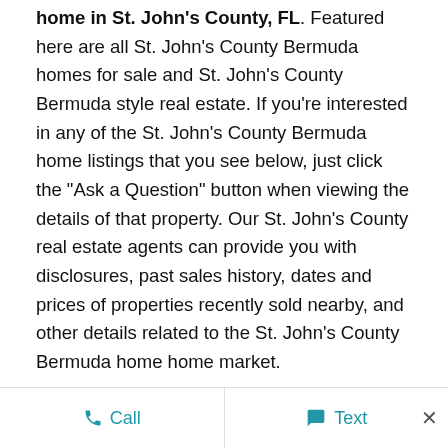home in St. John's County, FL. Featured here are all St. John's County Bermuda homes for sale and St. John's County Bermuda style real estate. If you're interested in any of the St. John's County Bermuda home listings that you see below, just click the "Ask a Question" button when viewing the details of that property. Our St. John's County real estate agents can provide you with disclosures, past sales history, dates and prices of properties recently sold nearby, and other details related to the St. John's County Bermuda home home market.

And if you're interested in St. John's County Bermuda homes for sale, we also invite you to register for a
Call   Text